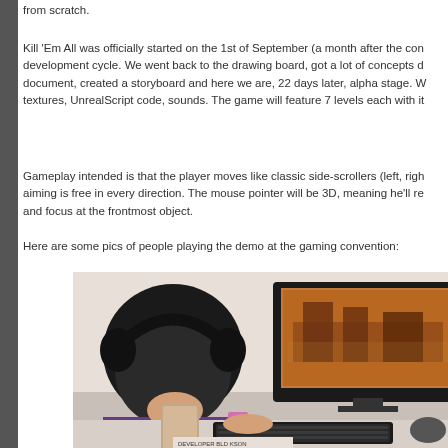from scratch.
Kill 'Em All was officially started on the 1st of September (a month after the con development cycle. We went back to the drawing board, got a lot of concepts d document, created a storyboard and here we are, 22 days later, alpha stage. W textures, UnrealScript code, sounds. The game will feature 7 levels each with it
Gameplay intended is that the player moves like classic side-scrollers (left, righ aiming is free in every direction. The mouse pointer will be 3D, meaning he'll re and focus at the frontmost object.
Here are some pics of people playing the demo at the gaming convention:
[Figure (photo): Person wearing headphones playing a game on a computer at a gaming convention. A large monitor shows a 3D game scene. A keyboard is visible in the foreground.]